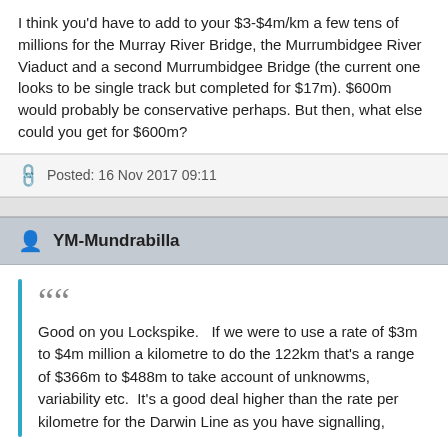I think you'd have to add to your $3-$4m/km a few tens of millions for the Murray River Bridge, the Murrumbidgee River Viaduct and a second Murrumbidgee Bridge (the current one looks to be single track but completed for $17m).  $600m would probably be conservative perhaps.  But then, what else could you get for $600m?
Posted: 16 Nov 2017 09:11
YM-Mundrabilla
Good on you Lockspike.   If we were to use a rate of $3m to $4m million a kilometre to do the 122km that's a range of $366m to $488m to take account of unknowms, variability etc.  It's a good deal higher than the rate per kilometre for the Darwin Line as you have signalling,